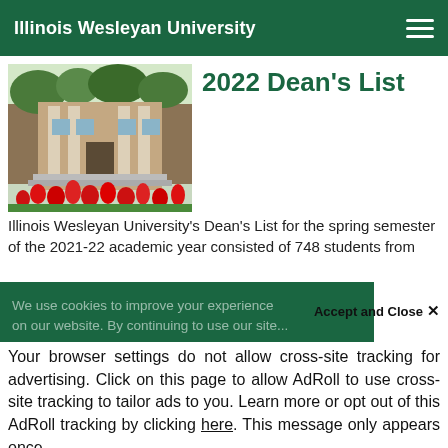Illinois Wesleyan University
[Figure (photo): Illinois Wesleyan University campus building with red tulips in foreground]
2022 Dean's List
Illinois Wesleyan University's Dean's List for the spring semester of the 2021-22 academic year consisted of 748 students from
We use cookies to improve your experience on our website. By continuing to use our site...
Your browser settings do not allow cross-site tracking for advertising. Click on this page to allow AdRoll to use cross-site tracking to tailor ads to you. Learn more or opt out of this AdRoll tracking by clicking here. This message only appears once.